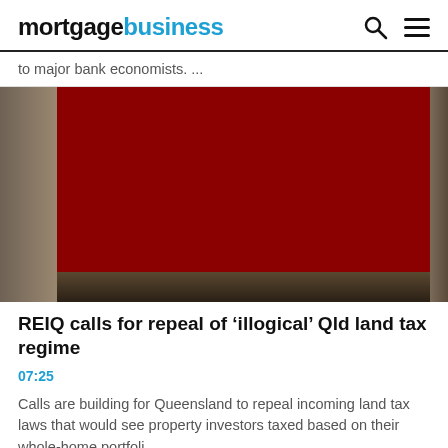mortgagebusiness
to major bank economists. ...
[Figure (photo): Article thumbnail image for REIQ land tax article, partially covered by a dark red redacted block]
REIQ calls for repeal of ‘illogical’ Qld land tax regime
07:25
Calls are building for Queensland to repeal incoming land tax laws that would see property investors taxed based on their whole-home portfolio ...